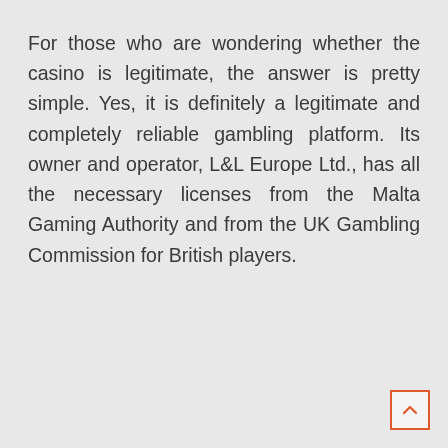For those who are wondering whether the casino is legitimate, the answer is pretty simple. Yes, it is definitely a legitimate and completely reliable gambling platform. Its owner and operator, L&L Europe Ltd., has all the necessary licenses from the Malta Gaming Authority and from the UK Gambling Commission for British players.